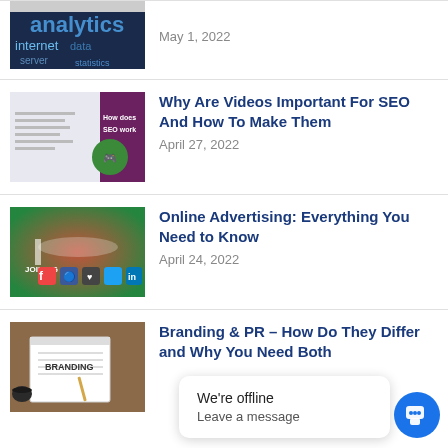[Figure (screenshot): Partial view of a data analytics word cloud blog post thumbnail (top portion visible)]
May 1, 2022
[Figure (screenshot): Blog post thumbnail showing 'How does SEO work' with a cartoon character]
Why Are Videos Important For SEO And How To Make Them
April 27, 2022
[Figure (photo): Social media icons including Facebook, Instagram, Twitter, LinkedIn on a colorful background with JOIN text]
Online Advertising: Everything You Need to Know
April 24, 2022
[Figure (photo): Notebook with BRANDING text, coffee cup, glasses, and pencil on a desk]
Branding & PR – How Do They Differ and Why You Need Both